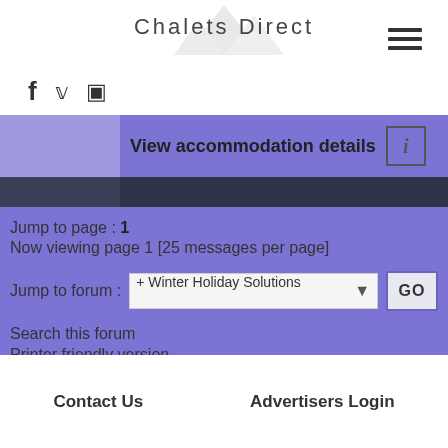Chalets Direct
View accommodation details
Jump to page : 1
Now viewing page 1 [25 messages per page]
Jump to forum : + Winter Holiday Solutions GO
Search this forum
Printer friendly version
E-mail a link to this thread
(Delete all cookies set by this site)
Contact Us    Advertisers Login